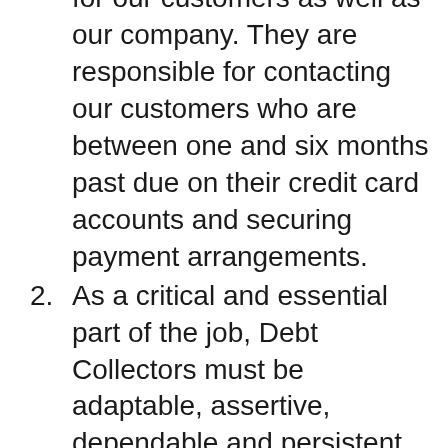for our customers as well as our company. They are responsible for contacting our customers who are between one and six months past due on their credit card accounts and securing payment arrangements.
2. As a critical and essential part of the job, Debt Collectors must be adaptable, assertive, dependable and persistent in order to successfully negotiate payment arrangements on a file of delinquent accounts. Payment arrangements are achieved through a combination of manual dialing, skip tracing, and automated dialer work.
3. Debt Collectors are responsible for securing payment arrangements with customers by phone and bringing